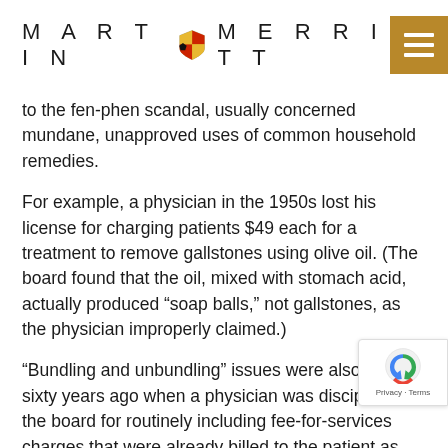MARTIN MERRITT
to the fen-phen scandal, usually concerned mundane, unapproved uses of common household remedies.
For example, a physician in the 1950s lost his license for charging patients $49 each for a treatment to remove gallstones using olive oil. (The board found that the oil, mixed with stomach acid, actually produced “soap balls,” not gallstones, as the physician improperly claimed.)
“Bundling and unbundling” issues were also present sixty years ago when a physician was disciplined by the board for routinely including fee-for-services charges that were already billed to the patient as part of the hospital’s charges.
Time and again, modern coding, charting and